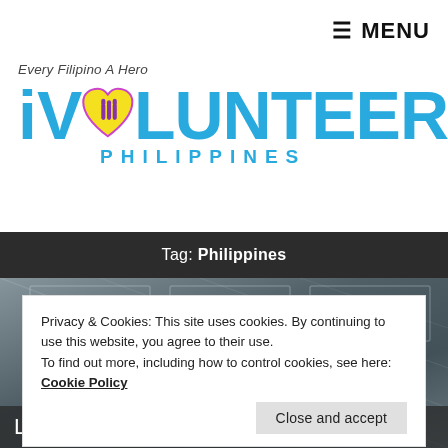≡ MENU
[Figure (logo): iVolunteer Philippines logo with tagline 'Every Filipino A Hero', featuring a blue iVOLUNTEER text with a yellow heart and purple hands icon, and PHILIPPINES in blue below.]
Tag: Philippines
[Figure (photo): Dark photo background showing ceiling with lighting panels, partially obscured by cookie consent dialog.]
Privacy & Cookies: This site uses cookies. By continuing to use this website, you agree to their use.
To find out more, including how to control cookies, see here: Cookie Policy
Close and accept
Last August 6, 1Volunteer held the first